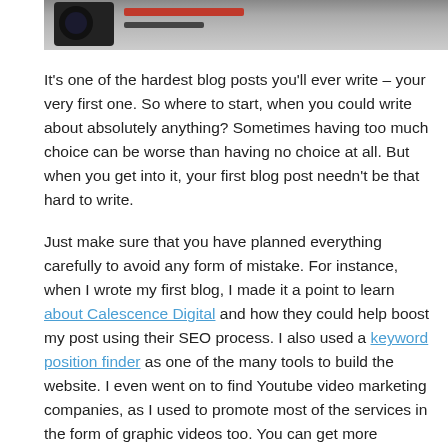[Figure (photo): Partial top image showing dark camera or tool equipment on a light background, cropped at top of page]
It's one of the hardest blog posts you'll ever write – your very first one. So where to start, when you could write about absolutely anything? Sometimes having too much choice can be worse than having no choice at all. But when you get into it, your first blog post needn't be that hard to write.
Just make sure that you have planned everything carefully to avoid any form of mistake. For instance, when I wrote my first blog, I made it a point to learn about Calescence Digital and how they could help boost my post using their SEO process. I also used a keyword position finder as one of the many tools to build the website. I even went on to find Youtube video marketing companies, as I used to promote most of the services in the form of graphic videos too. You can get more information from Postcreatives as to how to make your videos more creative.
Here are some suggested ways to approach your very first blog post